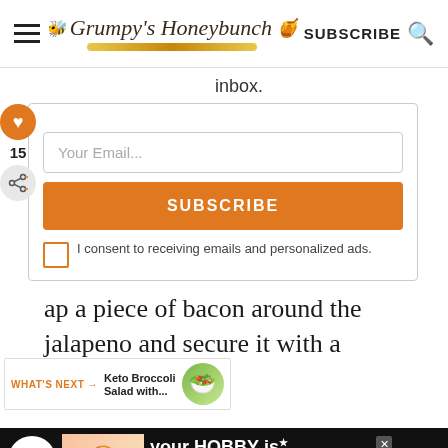Grumpy's Honeybunch | SUBSCRIBE
inbox.
Your Email...
SUBSCRIBE
I consent to receiving emails and personalized ads.
15
ap a piece of bacon around the jalapeno and secure it with a toothpick.
WHAT'S NEXT → Keto Broccoli Salad with...
[Figure (screenshot): Ad banner: your HOBBY is their HOPE - cookies for kid cancer charity ad with a heart-shaped cookie image]